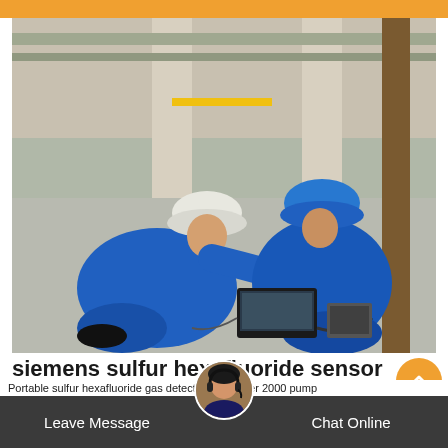[Figure (photo): Two workers in blue coveralls and hard hats (one white, one blue) crouching on an industrial floor working with a laptop and equipment cables. Industrial setting with pillars and pipes visible in the background.]
siemens sulfur hexafluoride sensor in Japan
Leave Message
Chat Online
Portable sulfur hexafluoride gas detector. GASTiger 2000 pump